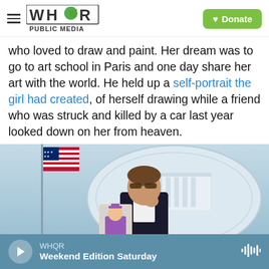WHQR PUBLIC MEDIA | Donate
who loved to draw and paint. Her dream was to go to art school in Paris and one day share her art with the world. He held up a self-portrait the girl had created, of herself drawing while a friend who was struck and killed by a car last year looked down on her from heaven.
[Figure (photo): A man in a dark suit holds up a photo of a young girl in a graduation cap and gown at what appears to be a White House press briefing room, with an American flag to the left. He appears emotional, with his fist raised to his mouth.]
WHQR | Weekend Edition Saturday